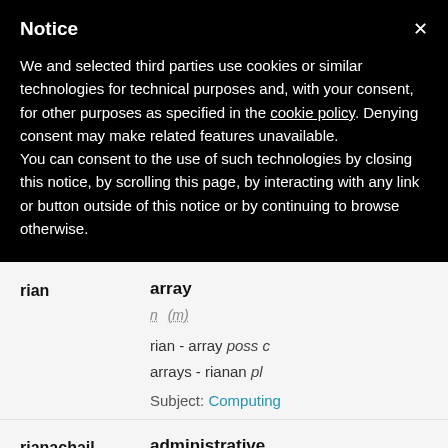Notice
We and selected third parties use cookies or similar technologies for technical purposes and, with your consent, for other purposes as specified in the cookie policy. Denying consent may make related features unavailable.
You can consent to the use of such technologies by closing this notice, by scrolling this page, by interacting with any link or button outside of this notice or by continuing to browse otherwise.
| Headword | Translation |
| --- | --- |
| rian | array
n (m)
rian - array poss c
arrays - rianan pl
Subject: Computing |
| rianachail | administrative |